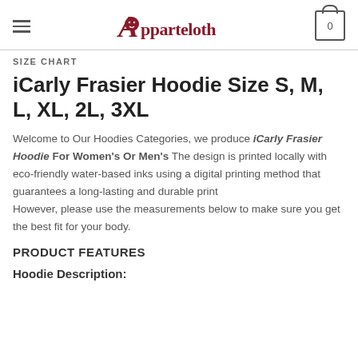Apparteloth
SIZE CHART
iCarly Frasier Hoodie Size S, M, L, XL, 2L, 3XL
Welcome to Our Hoodies Categories, we produce iCarly Frasier Hoodie For Women's Or Men's The design is printed locally with eco-friendly water-based inks using a digital printing method that guarantees a long-lasting and durable print
However, please use the measurements below to make sure you get the best fit for your body.
PRODUCT FEATURES
Hoodie Description: